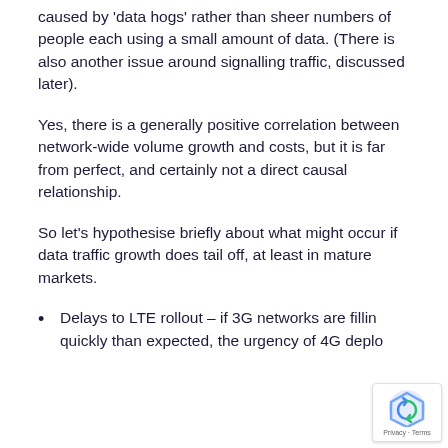caused by 'data hogs' rather than sheer numbers of people each using a small amount of data. (There is also another issue around signalling traffic, discussed later).
Yes, there is a generally positive correlation between network-wide volume growth and costs, but it is far from perfect, and certainly not a direct causal relationship.
So let’s hypothesise briefly about what might occur if data traffic growth does tail off, at least in mature markets.
Delays to LTE rollout – if 3G networks are filling quickly than expected, the urgency of 4G deploy...